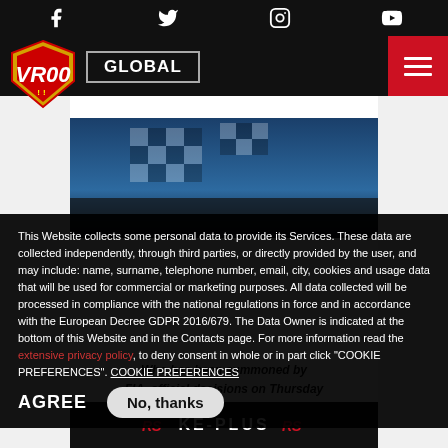Social media icons: Facebook, Twitter, Instagram, YouTube
[Figure (logo): VROO!! logo with GLOBAL navigation bar and hamburger menu]
[Figure (photo): Racing checkered flags against blue sky]
This Website collects some personal data to provide its Services. These data are collected independently, through third parties, or directly provided by the user, and may include: name, surname, telephone number, email, city, cookies and usage data that will be used for commercial or marketing purposes. All data collected will be processed in compliance with the national regulations in force and in accordance with the European Decree GDPR 2016/679. The Data Owner is indicated at the bottom of this Website and in the Contacts page. For more information read the extensive privacy policy, to deny consent in whole or in part click "COOKIE PREFERENCES". COOKIE PREFERENCES
AGREE   No, thanks
Who has been summoned by FIA, official decisions on Thursday
[Figure (logo): RS KE-PLUS RS logo banner at bottom]